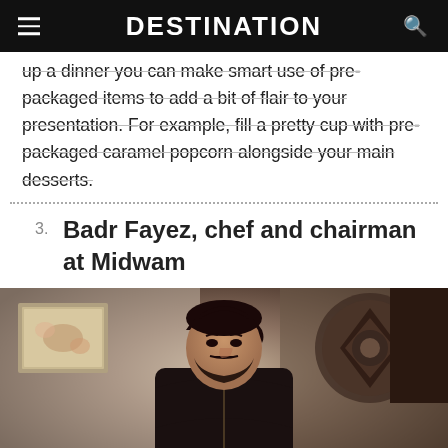DESTINATION
up a dinner you can make smart use of pre-packaged items to add a bit of flair to your presentation. For example, fill a pretty cup with pre-packaged caramel popcorn alongside your main desserts.
3. Badr Fayez, chef and chairman at Midwam
[Figure (photo): Portrait photo of Badr Fayez, a man with a beard wearing a black chef's uniform, seated in a decorated room with framed artwork and ornate cushions in the background.]